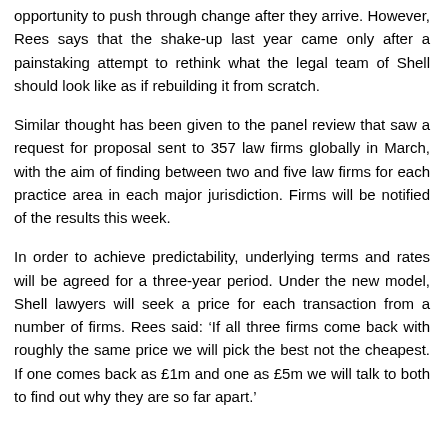opportunity to push through change after they arrive. However, Rees says that the shake-up last year came only after a painstaking attempt to rethink what the legal team of Shell should look like as if rebuilding it from scratch.
Similar thought has been given to the panel review that saw a request for proposal sent to 357 law firms globally in March, with the aim of finding between two and five law firms for each practice area in each major jurisdiction. Firms will be notified of the results this week.
In order to achieve predictability, underlying terms and rates will be agreed for a three-year period. Under the new model, Shell lawyers will seek a price for each transaction from a number of firms. Rees said: ‘If all three firms come back with roughly the same price we will pick the best not the cheapest. If one comes back as £1m and one as £5m we will talk to both to find out why they are so far apart.’